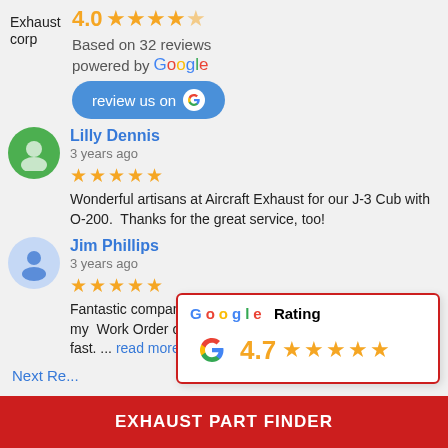Exhaust corp
4.0 ★★★★☆ Based on 32 reviews powered by Google
[Figure (screenshot): Blue 'review us on Google' button]
Lilly Dennis
3 years ago
★★★★★ Wonderful artisans at Aircraft Exhaust for our J-3 Cub with O-200. Thanks for the great service, too!
Jim Phillips
3 years ago
★★★★★ Fantastic company. PlanExhaust's Turn Around Time for my Work Order on a Continental IO470 exhaust was very fast. ... read more
Next Re...
[Figure (screenshot): Google Rating card: 4.7 stars with Google G logo]
EXHAUST PART FINDER